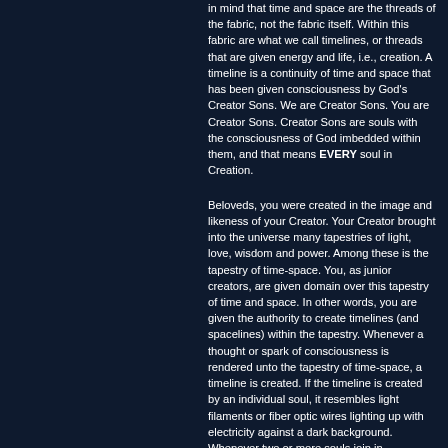in mind that time and space are the threads of the fabric, not the fabric itself. Within this fabric are what we call timelines, or threads that are given energy and life, i.e., creation. A timeline is a continuity of time and space that has been given consciousness by God's Creator Sons. We are Creator Sons. You are Creator Sons. Creator Sons are souls with the consciousness of God imbedded within them, and that means EVERY soul in Creation.
Beloveds, you were created in the image and likeness of your Creator. Your Creator brought into the universe many tapestries of light, love, wisdom and power. Among these is the tapestry of time-space. You, as junior creators, are given domain over this tapestry of time and space. In other words, you are given the authority to create timelines (and spacelines) within the tapestry. Whenever a thought or spark of consciousness is rendered unto the tapestry of time-space, a timeline is created. If the timeline is created by an individual soul, it resembles light filaments or fiber optic wires lighting up with electricity against a dark background. Whenever two or more souls join in consciousness within a given timeline, the ignited strand of fabric grows in brightness